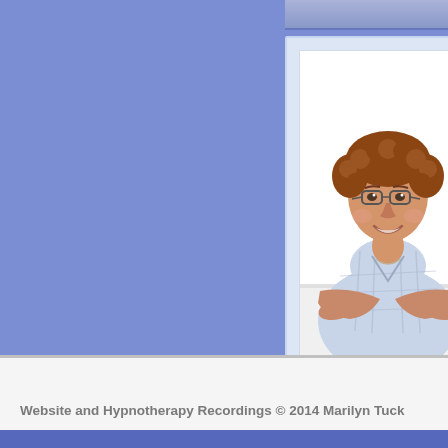[Figure (photo): Photo of a smiling middle-aged woman with curly reddish-brown hair and glasses, wearing a light blue plaid shirt, seated at a white table with hands open in a welcoming gesture. Photo is in a light blue framed box.]
Website and Hypnotherapy Recordings © 2014 Marilyn Tuck